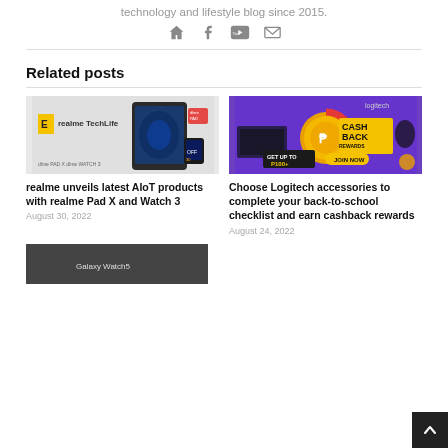technology and lifestyle blog since 2015.
[Figure (other): Social media icons: home, Facebook, YouTube, email]
Related posts
[Figure (photo): realme TechLife banner showing realme Pad X and realme Watch 3]
realme unveils latest AIoT products with realme Pad X and Watch 3
August 30, 2022
[Figure (photo): Logitech cashback rewards promotion banner - purple background with peripherals and coin. GET UP TO P100+. JOIN NOW.]
Choose Logitech accessories to complete your back-to-school checklist and earn cashback rewards
August 24, 2022
[Figure (photo): Partial image of Galaxy Watch (bottom of page)]